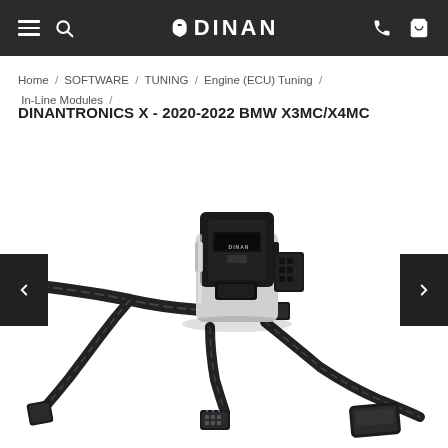DINAN - navigation header
Home / SOFTWARE / TUNING / Engine (ECU) Tuning / In-Line Modules /
DINANTRONICS X - 2020-2022 BMW X3MC/X4MC
[Figure (photo): DINANTRONICS X in-line ECU tuning module with wiring harness and connectors, showing a black and silver device with multiple cable leads and automotive connectors]